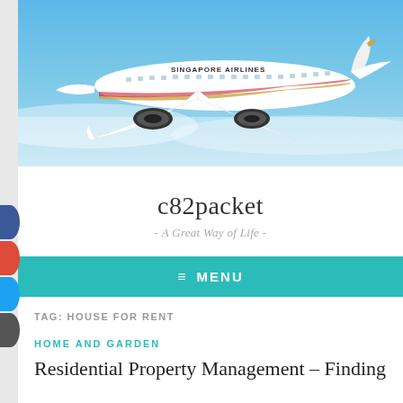[Figure (photo): Singapore Airlines aircraft (wide-body jet) in flight against a blue sky background]
c82packet
- A Great Way of Life -
≡ MENU
TAG: HOUSE FOR RENT
HOME AND GARDEN
Residential Property Management – Finding